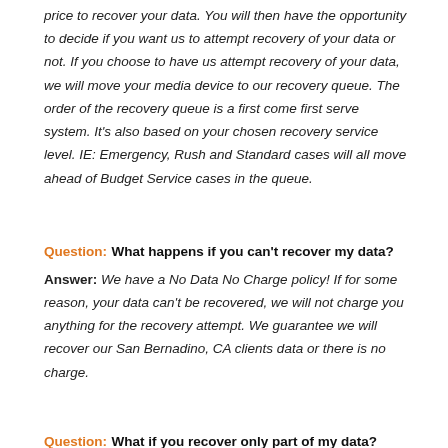price to recover your data. You will then have the opportunity to decide if you want us to attempt recovery of your data or not. If you choose to have us attempt recovery of your data, we will move your media device to our recovery queue. The order of the recovery queue is a first come first serve system. It's also based on your chosen recovery service level. IE: Emergency, Rush and Standard cases will all move ahead of Budget Service cases in the queue.
Question: What happens if you can't recover my data?
Answer: We have a No Data No Charge policy! If for some reason, your data can't be recovered, we will not charge you anything for the recovery attempt. We guarantee we will recover our San Bernadino, CA clients data or there is no charge.
Question: What if you recover only part of my data?